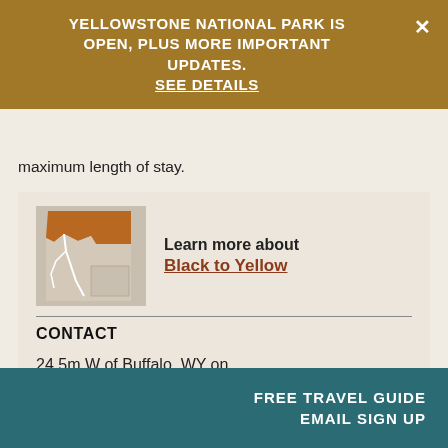YELLOWSTONE NATIONAL PARK IS OPEN, PLUS MORE IMPORTANT UPDATES. SEE DETAILS
maximum length of stay.
[Figure (map): Stylized map graphic of Wyoming/Montana region with orange highlighted area indicating Black to Yellow route, with white road lines on tan/beige background.]
Learn more about Black to Yellow
CONTACT
24.5m W of Buffalo, WY on
FREE TRAVEL GUIDE EMAIL SIGN UP